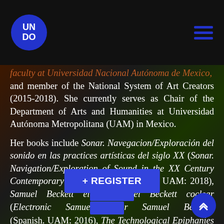UNDO
and member of the National System of Art Creators (2015-2018). She currently serves as Chair of the Department of Arts and Humanities at Universidad Autónoma Metropolitana (UAM) in Mexico.
Her books include Sonar. Navegacion/Exploración del sonido en las practices artísticas del siglo XX (Sonar. Navigation/Exploration of Sound in the XX Century Contemporary Art Practices) (Spanish. UAM: 2018), Samuel Beckett electrónico. Samuel Beckett coclear (Electronic Samuel Beckett. Sonar Samuel Beckett) (Spanish. UAM: 2016), The Technological Epiphanies of Samuel Beckett: Machines of Inscription and Audiovisual Manipulation (Bilingual. Fonca/Futura: 2016), as well as